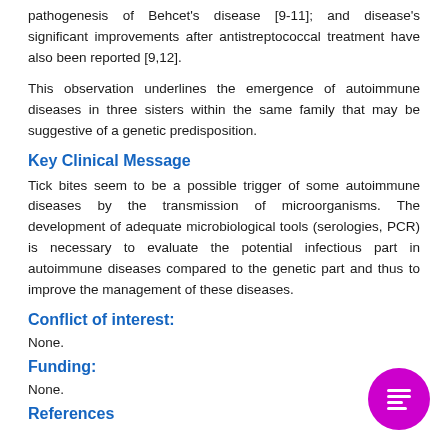pathogenesis of Behcet's disease [9-11]; and disease's significant improvements after antistreptococcal treatment have also been reported [9,12].
This observation underlines the emergence of autoimmune diseases in three sisters within the same family that may be suggestive of a genetic predisposition.
Key Clinical Message
Tick bites seem to be a possible trigger of some autoimmune diseases by the transmission of microorganisms. The development of adequate microbiological tools (serologies, PCR) is necessary to evaluate the potential infectious part in autoimmune diseases compared to the genetic part and thus to improve the management of these diseases.
Conflict of interest:
None.
Funding:
None.
References